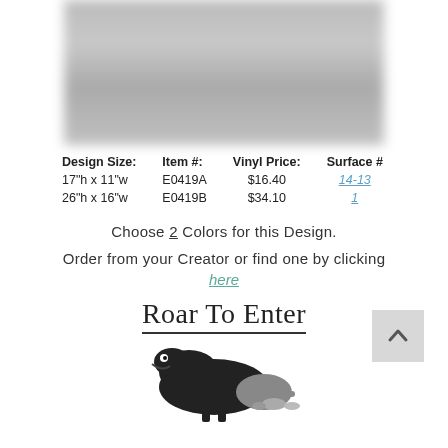[Figure (photo): Blurred/obscured product image at top of page]
| Design Size: | Item #: | Vinyl Price: | Surface # |
| --- | --- | --- | --- |
| 17"h x 11"w | E0419A | $16.40 | 14-13 |
| 26"h x 16"w | E0419B | $34.10 | 1 |
Choose 2 Colors for this Design.
Order from your Creator or find one by clicking here
Roar To Enter
[Figure (illustration): Black and white dinosaur illustration at bottom of page]